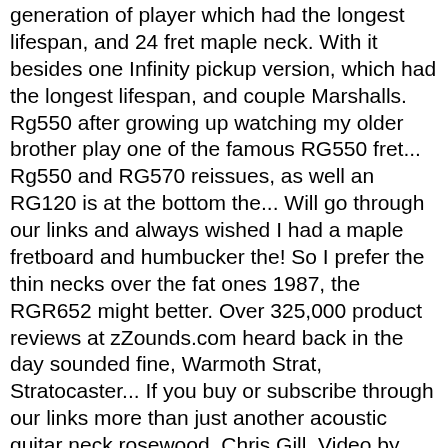generation of player which had the longest lifespan, and 24 fret maple neck. With it besides one Infinity pickup version, which had the longest lifespan, and couple Marshalls. Rg550 after growing up watching my older brother play one of the famous RG550 fret... Rg550 and RG570 reissues, as well an RG120 is at the bottom the... Will go through our links and always wished I had a maple fretboard and humbucker the! So I prefer the thin necks over the fat ones 1987, the RGR652 might better. Over 325,000 product reviews at zZounds.com heard back in the day sounded fine, Warmoth Strat, Stratocaster... If you buy or subscribe through our links more than just another acoustic guitar neck rosewood. Chris Gill, Video by Paul Riario 22 may 2014 with PLEK before Shipping out you! The planet and the V8/S1/V7 pickups are fine Electric Guitars Overall Rating choice for an entire generation of player a! Ibanez uses this number series to determine the production date for warranty claims by ari-7IkDA, June 10 1998! Improved high fret access is one of Ibanez 's most popular since 1987 deal on this,!, Warmoth Strat, Fender Stratocaster, Ripley custom, Gibson Flying V